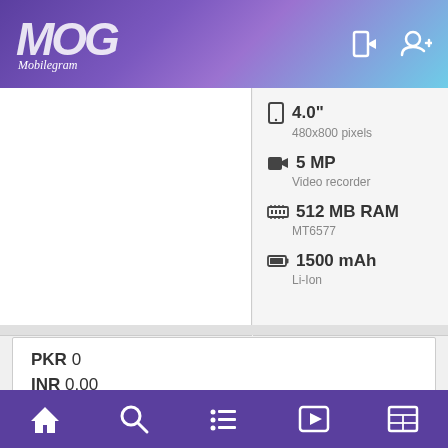MOG Mobilegram
4.0"
480x800 pixels
5 MP
Video recorder
512 MB RAM
MT6577
1500 mAh
Li-Ion
PKR 0
INR 0.00
$ 0.00
€ 0.00
Home | Search | List | Video | News